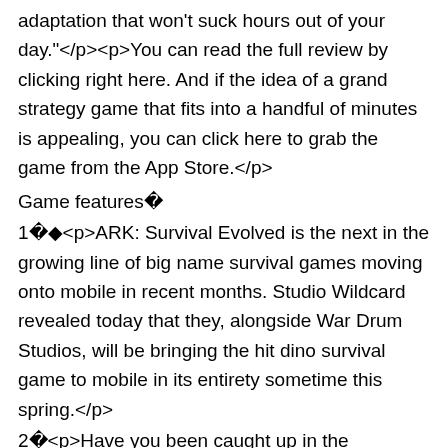adaptation that won't suck hours out of your day."</p><p>You can read the full review by clicking right here. And if the idea of a grand strategy game that fits into a handful of minutes is appealing, you can click here to grab the game from the App Store.</p>
Game features 
1 ◆<p>ARK: Survival Evolved is the next in the growing line of big name survival games moving onto mobile in recent months. Studio Wildcard revealed today that they, alongside War Drum Studios, will be bringing the hit dino survival game to mobile in its entirety sometime this spring.</p>
2 <p>Have you been caught up in the continuous Pokemon craze this year? From Pokemon GO to Pokemon Sun and Moon, we can't get enough of it, and neither can the apps inspired by the monster-catching franchise. However, Nexomon is supremely charming where others tend to fall short.</p><p>Nexomon is a